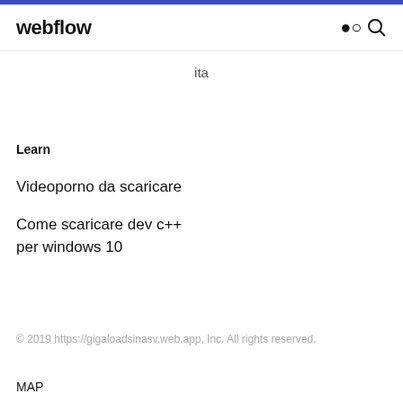webflow
ita
Learn
Videoporno da scaricare
Come scaricare dev c++ per windows 10
© 2019 https://gigaloadsinasv.web.app, Inc. All rights reserved.
MAP